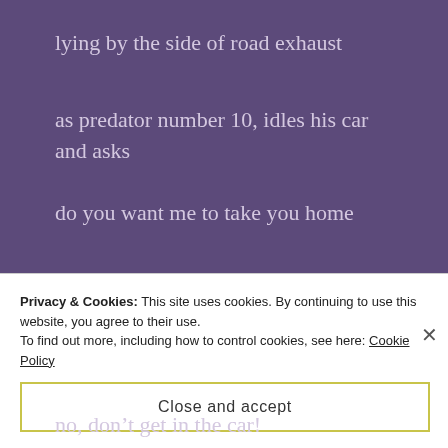lying by the side of road exhaust
as predator number 10, idles his car and asks
do you want me to take you home
baby?
I press myself to the window glass
no, don't get in the car!
Privacy & Cookies: This site uses cookies. By continuing to use this website, you agree to their use. To find out more, including how to control cookies, see here: Cookie Policy
Close and accept